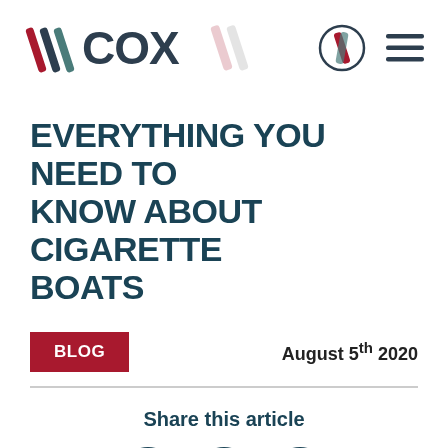[Figure (logo): Cox company logo with slash marks and circle icon, plus hamburger menu icon]
EVERYTHING YOU NEED TO KNOW ABOUT CIGARETTE BOATS
BLOG    August 5th 2020
Share this article
[Figure (infographic): Social media share icons: Facebook, Twitter, LinkedIn]